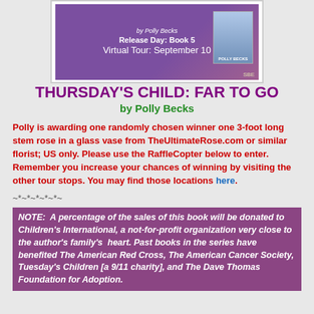[Figure (illustration): Purple promotional banner showing 'by Polly Becks', 'Release Day: Book 5', 'Virtual Tour: September 10', with a small book thumbnail on the right and 'SBE' label at bottom right]
THURSDAY'S CHILD: FAR TO GO
by Polly Becks
Polly is awarding one randomly chosen winner one 3-foot long stem rose in a glass vase from TheUltimateRose.com or similar florist; US only. Please use the RaffleCopter below to enter. Remember you increase your chances of winning by visiting the other tour stops. You may find those locations here.
~*~*~*~*~*~
NOTE:  A percentage of the sales of this book will be donated to Children's International, a not-for-profit organization very close to the author's family's  heart. Past books in the series have benefited The American Red Cross, The American Cancer Society, Tuesday's Children [a 9/11 charity], and The Dave Thomas Foundation for Adoption.